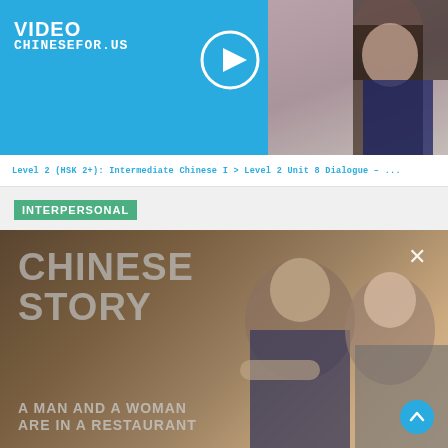[Figure (screenshot): Video thumbnail with blue background showing CHINESEFOR.US website logo, play button circle, and a woman with long dark hair on the right side]
Level 2 (HSK 2+): Intermediate Chinese I > Level 2 Unit 8 Dialogue – ...
INTERPERSONAL
[Figure (screenshot): Video thumbnail showing 'CHINESE STORY' text overlay on a warm-toned photo of a man and a woman at a restaurant, with close/scroll-up buttons]